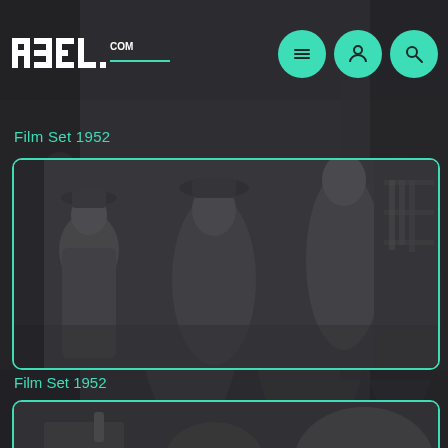[Figure (logo): R3EL.com logo in white pixel/block lettering on dark background]
Film Set 1952
[Figure (photo): Black and white vintage film set photo from 1952 showing people in 1950s attire on a set, enclosed in a teal/cyan rounded border frame]
Film Set 1952
[Figure (photo): Second black and white vintage film set photo partially visible at bottom of page, also in teal/cyan rounded border frame]